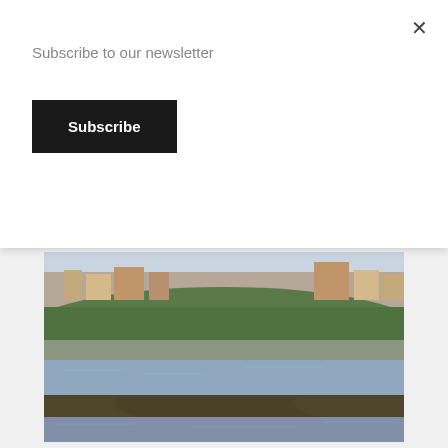Subscribe to our newsletter
Subscribe
[Figure (photo): Coastal view of Malta showing rocky shoreline in foreground, calm blue-grey water, and a hillside cityscape with Mediterranean architecture and green trees in the background.]
MALTA
Malta is a small rocky island of 27km long by 14,5km wide. Coming from a bigger country less densely populated, it can be